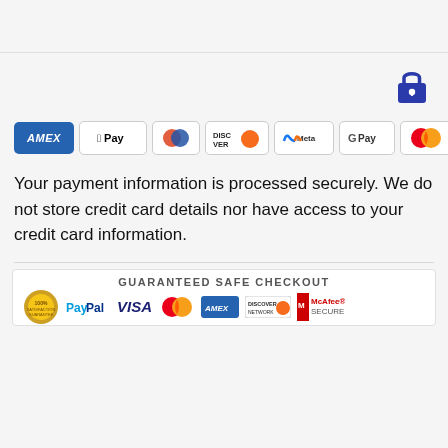[Figure (other): Lock/security icon in dark blue, top right corner]
[Figure (other): Row of payment method icons: AMEX, Apple Pay, Diners Club, Discover, Meta Pay, Google Pay, Mastercard, OPay, VISA]
Your payment information is processed securely. We do not store credit card details nor have access to your credit card information.
[Figure (other): Guaranteed Safe Checkout banner with logos: PayPal, VISA, Mastercard, American Express, Discover, McAfee Secure]